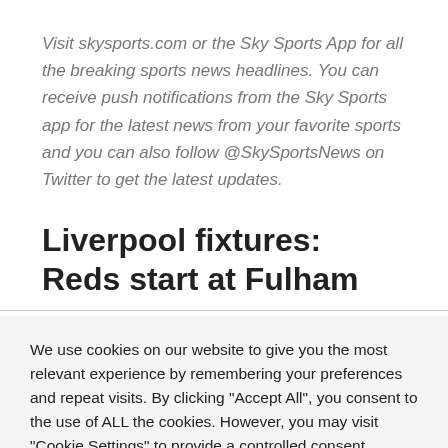Visit skysports.com or the Sky Sports App for all the breaking sports news headlines. You can receive push notifications from the Sky Sports app for the latest news from your favorite sports and you can also follow @SkySportsNews on Twitter to get the latest updates.
Liverpool fixtures: Reds start at Fulham
Liverpool begin the 2022/23 Premier League campaign with a
We use cookies on our website to give you the most relevant experience by remembering your preferences and repeat visits. By clicking "Accept All", you consent to the use of ALL the cookies. However, you may visit "Cookie Settings" to provide a controlled consent.